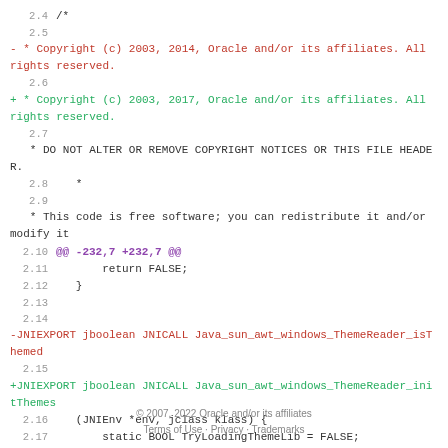2.4  /*
2.5 - * Copyright (c) 2003, 2014, Oracle and/or its affiliates. All rights reserved.
2.6 + * Copyright (c) 2003, 2017, Oracle and/or its affiliates. All rights reserved.
2.7    * DO NOT ALTER OR REMOVE COPYRIGHT NOTICES OR THIS FILE HEADER.
2.8    *
2.9    * This code is free software; you can redistribute it and/or modify it
2.10  @@ -232,7 +232,7 @@
2.11       return FALSE;
2.12  }
2.13
2.14 -JNIEXPORT jboolean JNICALL Java_sun_awt_windows_ThemeReader_isThemed
2.15 +JNIEXPORT jboolean JNICALL Java_sun_awt_windows_ThemeReader_initThemes
2.16  (JNIEnv *env, jclass klass) {
2.17       static BOOL TryLoadingThemeLib = FALSE;
2.18       static BOOL Themed = FALSE;
© 2007, 2022 Oracle and/or its affiliates
Terms of Use · Privacy · Trademarks